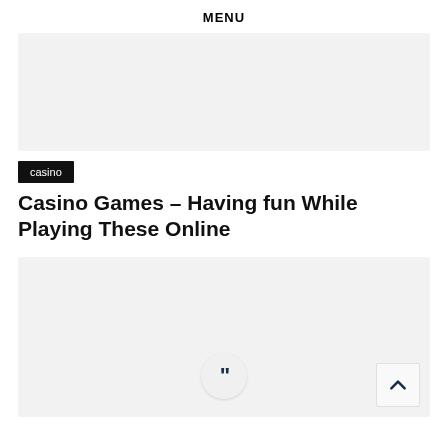MENU
[Figure (other): Top image placeholder block with light gray background]
casino
Casino Games – Having fun While Playing These Online
[Figure (other): Bottom image placeholder block with light gray background, a quotation mark circle icon at bottom center, and a back-to-top arrow button at bottom right]